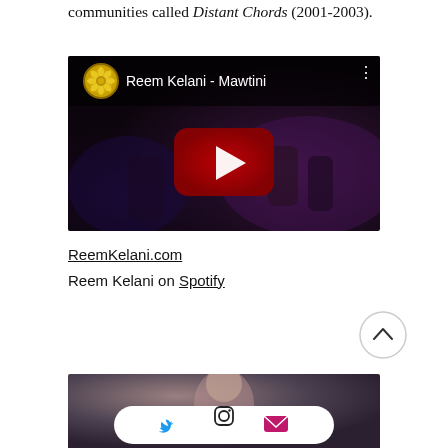communities called Distant Chords (2001-2003).
[Figure (screenshot): YouTube video thumbnail for 'Reem Kelani - Mawtini' showing a dark concert scene with a YouTube play button and the channel logo (golden flower emblem).]
ReemKelani.com
Reem Kelani on Spotify
[Figure (infographic): Circular scroll-to-top button with an upward chevron arrow.]
[Figure (photo): Partial bottom photo of a person, cropped, with a social media share bar overlay containing Twitter, Instagram, and email icons.]